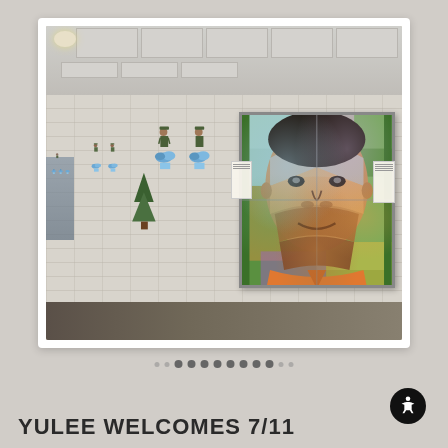[Figure (photo): School hallway with student artwork displayed on white cinder block wall. A large colorful mosaic portrait of Martin Luther King Jr. hangs on the right side of the wall. To the left along the wall are rows of student art pieces featuring blue cloud figures and small figures with hats. The hallway has a dropped ceiling with tiles and a dark floor.]
YULEE WELCOMES 7/11